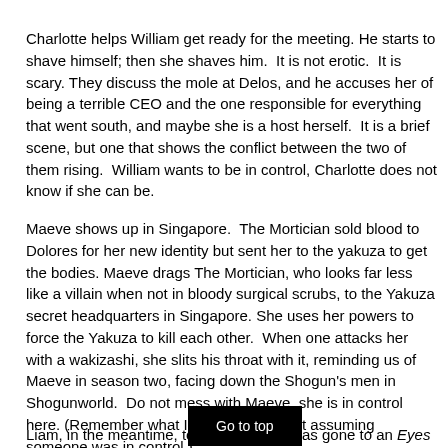Charlotte helps William get ready for the meeting. He starts to shave himself; then she shaves him.  It is not erotic.  It is scary. They discuss the mole at Delos, and he accuses her of being a terrible CEO and the one responsible for everything that went south, and maybe she is a host herself.  It is a brief scene, but one that shows the conflict between the two of them rising.  William wants to be in control, Charlotte does not know if she can be.
Maeve shows up in Singapore.  The Mortician sold blood to Dolores for her new identity but sent her to the yakuza to get the bodies. Maeve drags The Mortician, who looks far less like a villain when not in bloody surgical scrubs, to the Yakuza secret headquarters in Singapore. She uses her powers to force the Yakuza to kill each other.  When one attacks her with a wakizashi, she slits his throat with it, reminding us of Maeve in season two, facing down the Shogun's men in Shogunworld.  Do not mess with Maeve, she is in control here. (Remember what I said above about assuming someone was in control.)
Liam, in the meantime, to cheer him up, has gone to an Eyes